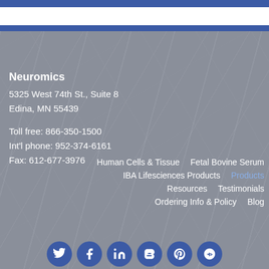[Figure (other): Blue header bar at top of page]
Neuromics
5325 West 74th St., Suite 8
Edina, MN 55439

Toll free: 866-350-1500
Int'l phone: 952-374-6161
Fax: 612-677-3976
Human Cells & Tissue
Fetal Bovine Serum
IBA Lifesciences Products
Products
Resources
Testimonials
Ordering Info & Policy
Blog
[Figure (other): Social media icon buttons: Twitter, Facebook, LinkedIn, Blogger, Pinterest, Google+]